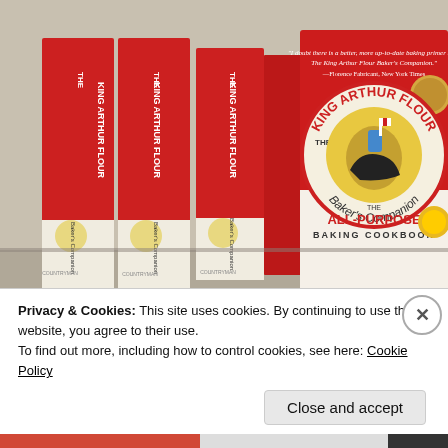[Figure (photo): Multiple copies of 'The King Arthur Flour Baker's Companion: The All-Purpose Baking Cookbook' displayed on a shelf. Three red-spined books are shown at left with titles reading 'The King Arthur Flour Baker's Companion' vertically. The front cover of the book is shown at right: a circular logo with a knight on horseback, the title 'The King Arthur Flour Baker's Companion' and subtitle 'THE ALL-PURPOSE BAKING COOKBOOK'. A quote at top reads: 'I doubt there is a better, more up-to-date baking primer than The King Arthur Flour Baker's Companion.' —Florence Fabricant, New York Times]
Privacy & Cookies: This site uses cookies. By continuing to use this website, you agree to their use.
To find out more, including how to control cookies, see here: Cookie Policy